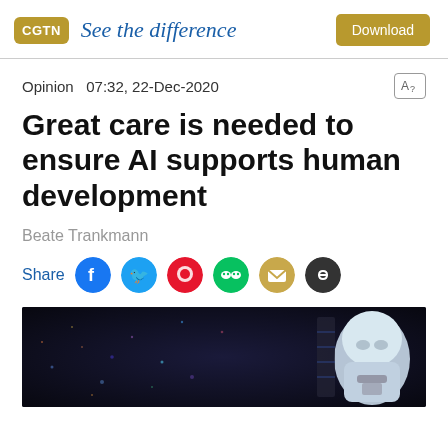CGTN — See the difference — Download
Opinion   07:32, 22-Dec-2020
Great care is needed to ensure AI supports human development
Beate Trankmann
Share
[Figure (photo): Robot or AI humanoid face/head against a dark background with scattered light particles]